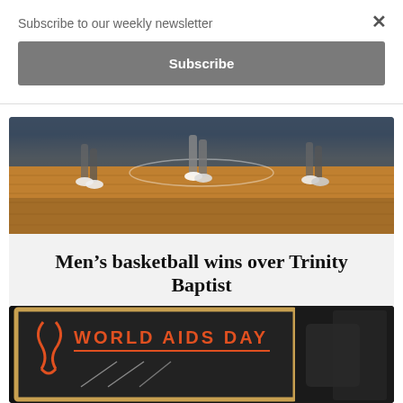Subscribe to our weekly newsletter
Subscribe
[Figure (photo): Basketball players running on a hardwood court, lower legs and sneakers visible]
Men’s basketball wins over Trinity Baptist
December 3, 2017
[Figure (photo): Chalkboard sign reading WORLD AIDS DAY with a red ribbon drawing]